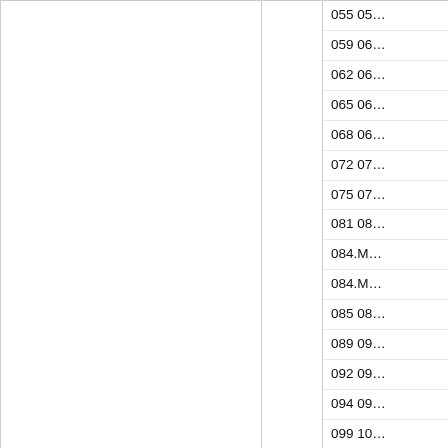|  |  | Codes |
| --- | --- | --- |
|  |  | 055 05... |
|  |  | 059 06... |
|  |  | 062 06... |
|  |  | 065 06... |
|  |  | 068 06... |
|  |  | 072 07... |
|  |  | 075 07... |
|  |  | 081 08... |
|  |  | 084.M... |
|  |  | 084.M... |
|  |  | 085 08... |
|  |  | 089 09... |
|  |  | 092 09... |
|  |  | 094 09... |
|  |  | 099 10... |
|  |  | 501.XR... |
|  |  | 502.XR... |
|  |  | 503.XR... |